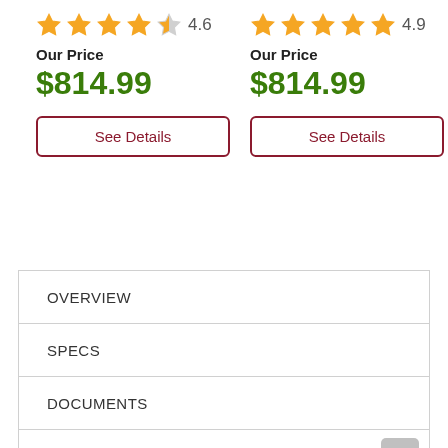4.6 (stars rating, 4.5 filled)
Our Price
$814.99
See Details
4.9 (stars rating, 5 filled)
Our Price
$814.99
See Details
OVERVIEW
SPECS
DOCUMENTS
REBATES
DELIVERY